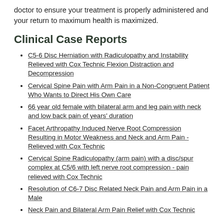doctor to ensure your treatment is properly administered and your return to maximum health is maximized.
Clinical Case Reports
C5-6 Disc Herniation with Radiculopathy and Instability Relieved with Cox Technic Flexion Distraction and Decompression
Cervical Spine Pain with Arm Pain in a Non-Congruent Patient Who Wants to Direct His Own Care
66 year old female with bilateral arm and leg pain with neck and low back pain of years' duration
Facet Arthropathy Induced Nerve Root Compression Resulting in Motor Weakness and Neck and Arm Pain - Relieved with Cox Technic
Cervical Spine Radiculopathy (arm pain) with a disc/spur complex at C5/6 with left nerve root compression - pain relieved with Cox Technic
Resolution of C6-7 Disc Related Neck Pain and Arm Pain in a Male
Neck Pain and Bilateral Arm Pain Relief with Cox Technic